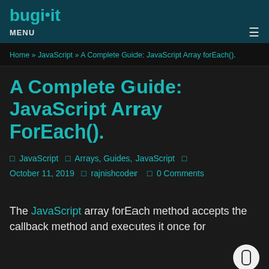buginit
MENU
Home » JavaScript » A Complete Guide: JavaScript Array forEach().
A Complete Guide: JavaScript Array ForEach().
□ JavaScript □ Arrays, Guides, JavaScript □ October 11, 2019 □ rajnishcoder □ 0 Comments
The JavaScript array forEach method accepts the callback method and executes it once for